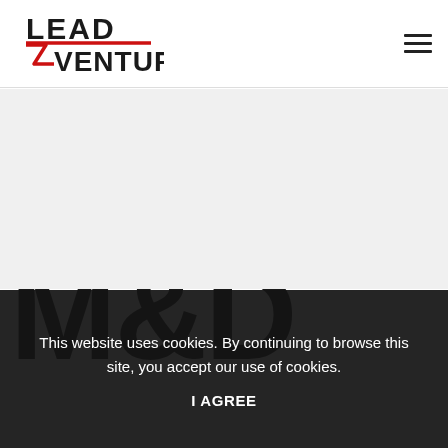[Figure (logo): Lead Ventures logo: bold text LEAD on top line, VENTURES below, with a red lightning bolt / checkmark shape between L and V, and a red horizontal line under LEAD]
[Figure (other): Hamburger menu icon: three horizontal dark lines stacked]
[Figure (other): Large partially visible letters M, O (or Q), B (or D) in very large dark/black bold font at the bottom of the content area, cropped]
This website uses cookies. By continuing to browse this site, you accept our use of cookies.
I AGREE